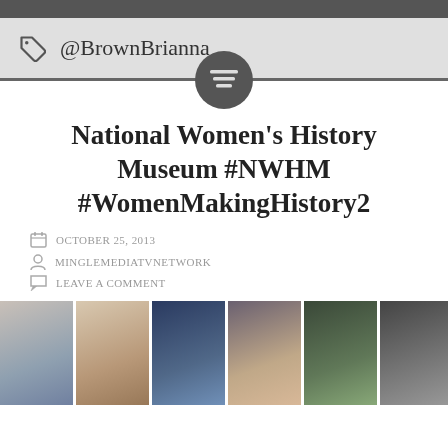@BrownBrianna
National Women's History Museum #NWHM #WomenMakingHistory2
OCTOBER 25, 2013
MINGLEMEDIATVNETWORK
LEAVE A COMMENT
[Figure (photo): Gallery of photos from the National Women's History Museum event, showing various women at the event.]